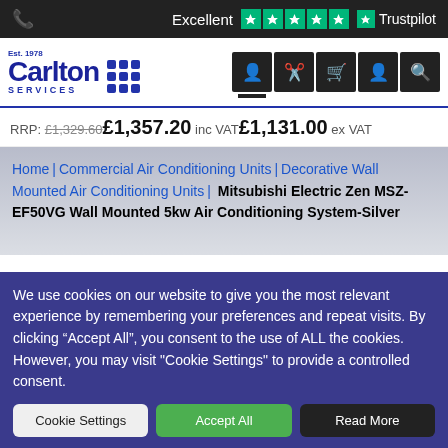Excellent ★★★★★ Trustpilot
[Figure (logo): Carlton Services logo with 'Est. 1978' and dot grid, plus navigation icons]
RRP: £1,329.60 £1,357.20 inc VAT £1,131.00 ex VAT
Home | Commercial Air Conditioning Units | Decorative Wall Mounted Air Conditioning Units | Mitsubishi Electric Zen MSZ-EF50VG Wall Mounted 5kw Air Conditioning System-Silver
We use cookies on our website to give you the most relevant experience by remembering your preferences and repeat visits. By clicking "Accept All", you consent to the use of ALL the cookies. However, you may visit "Cookie Settings" to provide a controlled consent.
Cookie Settings | Accept All | Read More